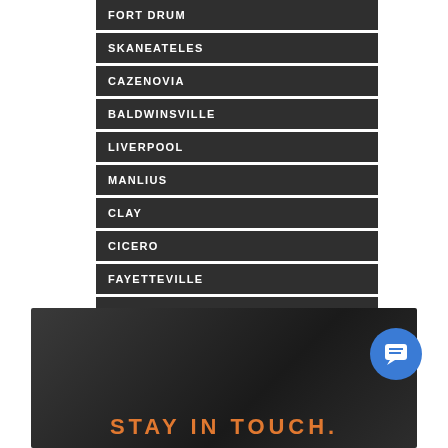FORT DRUM
SKANEATELES
CAZENOVIA
BALDWINSVILLE
LIVERPOOL
MANLIUS
CLAY
CICERO
FAYETTEVILLE
ONEIDA
FINGER LAKES
STAY IN TOUCH.